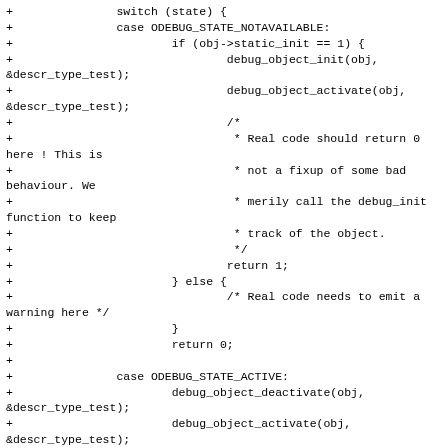+		switch (state) {
+		case ODEBUG_STATE_NOTAVAILABLE:
+			if (obj->static_init == 1) {
+				debug_object_init(obj,
&descr_type_test);
+				debug_object_activate(obj,
&descr_type_test);
+				/*
+				 * Real code should return 0 here ! This is
+				 * not a fixup of some bad behaviour. We
+				 * merily call the debug_init function to keep
+				 * track of the object.
+				 */
+				return 1;
+			} else {
+				/* Real code needs to emit a warning here */
+			}
+				return 0;
+
+		case ODEBUG_STATE_ACTIVE:
+			debug_object_deactivate(obj,
&descr_type_test);
+			debug_object_activate(obj,
&descr_type_test);
+			return 1;
+